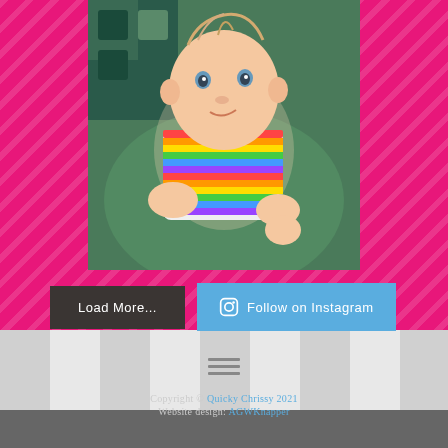[Figure (photo): Close-up photo of a baby wearing a colorful striped onesie, doing tummy time on a dark play mat, looking up at the camera]
Load More...
Follow on Instagram
[Figure (other): Hamburger menu icon (three horizontal lines)]
Copyright © Quicky Chrissy 2021
Website design: AGWKnapper